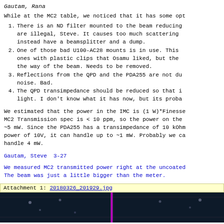Gautam, Rana
While at the MC2 table, we noticed that it has some opt
1. There is an ND filter mounted to the beam reducing are illegal, Steve. It causes too much scattering instead have a beamsplitter and a dump.
2. One of those bad U100-AC28 mounts is in use. This ones with plastic clips that Osamu liked, but the the way of the beam. Needs to be removed.
3. Reflections from the QPD and the PDA255 are not du noise. Bad.
4. The QPD transimpedance should be reduced so that i light. I don't know what it has now, but its proba
We estimated that the power in the IMC is (1 W)*Finesse MC2 Transmission spec is < 10 ppm, so the power on the ~5 mW. Since the PDA255 has a transimpedance of 10 kOhm power of 10V, it can handle up to ~1 mW. Probably we ca handle 4 mW.
Gautam, Steve  3-27
We measured MC2 transmitted power right at the uncoated The beam was just a little bigger than the meter.
Attachment 1: 20180326_201929.jpg
[Figure (photo): Dark photograph of optical table or mount with a magenta/purple vertical laser line visible in the center]